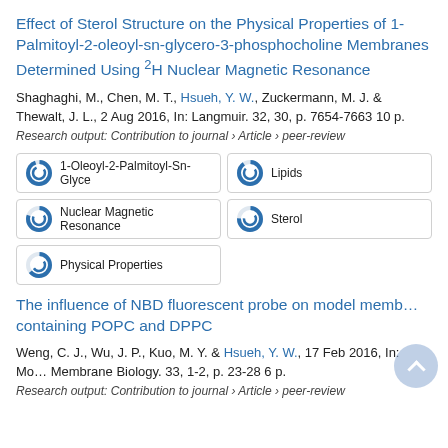Effect of Sterol Structure on the Physical Properties of 1-Palmitoyl-2-oleoyl-sn-glycero-3-phosphocholine Membranes Determined Using 2H Nuclear Magnetic Resonance
Shaghaghi, M., Chen, M. T., Hsueh, Y. W., Zuckermann, M. J. & Thewalt, J. L., 2 Aug 2016, In: Langmuir. 32, 30, p. 7654-7663 10 p.
Research output: Contribution to journal › Article › peer-review
[Figure (infographic): Fingerprint keyword badges: 1-Oleoyl-2-Palmitoyl-Sn-Glyce, Lipids, Nuclear Magnetic Resonance, Sterol, Physical Properties — each with a circular donut-style icon indicating coverage percentage]
The influence of NBD fluorescent probe on model membranes containing POPC and DPPC
Weng, C. J., Wu, J. P., Kuo, M. Y. & Hsueh, Y. W., 17 Feb 2016, In: Molecular Membrane Biology. 33, 1-2, p. 23-28 6 p.
Research output: Contribution to journal › Article › peer-review